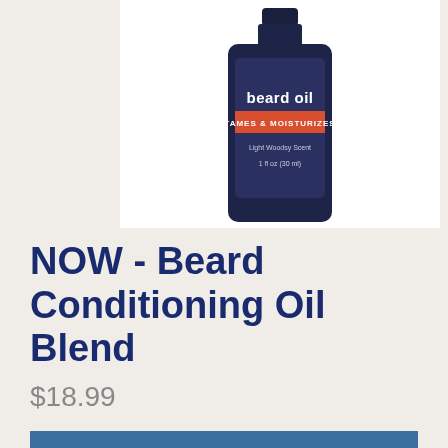[Figure (photo): Dark navy blue beard oil bottle with white text 'beard oil', orange banner reading 'TAMES & MOISTURIZES', and small text 'Light Woodsy Scent' and '1 fl oz (30 ml)' on a white background]
NOW - Beard Conditioning Oil Blend
$18.99
ADD TO CART
Info: 30 ml Spray Bottle; Light Woodsy Scent